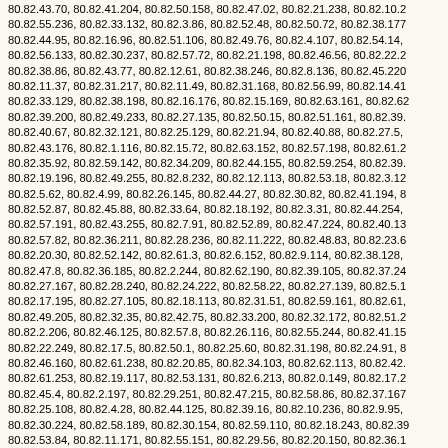80.82.43.70, 80.82.41.204, 80.82.50.158, 80.82.47.02, 80.82.21.238, 80.82.10.2, 80.82.55.236, 80.82.33.132, 80.82.3.86, 80.82.52.48, 80.82.50.72, 80.82.38.177, 80.82.44.95, 80.82.16.96, 80.82.51.106, 80.82.49.76, 80.82.4.107, 80.82.54.14, 80.82.56.133, 80.82.30.237, 80.82.57.72, 80.82.21.198, 80.82.46.56, 80.82.22.2, 80.82.38.86, 80.82.43.77, 80.82.12.61, 80.82.38.246, 80.82.8.136, 80.82.45.220, 80.82.11.37, 80.82.31.217, 80.82.11.49, 80.82.31.168, 80.82.56.99, 80.82.14.41, 80.82.33.129, 80.82.38.198, 80.82.16.176, 80.82.15.169, 80.82.63.161, 80.82.62, 80.82.39.200, 80.82.49.233, 80.82.27.135, 80.82.50.15, 80.82.51.161, 80.82.39, 80.82.40.67, 80.82.32.121, 80.82.25.129, 80.82.21.94, 80.82.40.88, 80.82.27.5, 80.82.43.176, 80.82.1.116, 80.82.15.72, 80.82.63.152, 80.82.57.198, 80.82.61.2, 80.82.35.92, 80.82.59.142, 80.82.34.209, 80.82.44.155, 80.82.59.254, 80.82.39, 80.82.19.196, 80.82.49.255, 80.82.8.232, 80.82.12.113, 80.82.53.18, 80.82.3.12, 80.82.5.62, 80.82.4.99, 80.82.26.145, 80.82.44.27, 80.82.30.82, 80.82.41.194, 8, 80.82.52.87, 80.82.45.88, 80.82.33.64, 80.82.18.192, 80.82.3.31, 80.82.44.254, 80.82.57.191, 80.82.43.255, 80.82.7.91, 80.82.52.89, 80.82.47.224, 80.82.40.13, 80.82.57.82, 80.82.36.211, 80.82.28.236, 80.82.11.222, 80.82.48.83, 80.82.23.6, 80.82.20.30, 80.82.52.142, 80.82.61.3, 80.82.6.152, 80.82.9.114, 80.82.38.128, 80.82.47.8, 80.82.36.185, 80.82.2.244, 80.82.62.190, 80.82.39.105, 80.82.37.24, 80.82.27.167, 80.82.28.240, 80.82.24.222, 80.82.58.22, 80.82.27.139, 80.82.5.1, 80.82.17.195, 80.82.27.105, 80.82.18.113, 80.82.31.51, 80.82.59.161, 80.82.61, 80.82.49.205, 80.82.32.35, 80.82.42.75, 80.82.33.200, 80.82.32.172, 80.82.51.2, 80.82.2.206, 80.82.46.125, 80.82.57.8, 80.82.26.116, 80.82.55.244, 80.82.41.15, 80.82.22.249, 80.82.17.5, 80.82.50.1, 80.82.25.60, 80.82.31.198, 80.82.24.91, 8, 80.82.46.160, 80.82.61.238, 80.82.20.85, 80.82.34.103, 80.82.62.113, 80.82.42, 80.82.61.253, 80.82.19.117, 80.82.53.131, 80.82.6.213, 80.82.0.149, 80.82.17.2, 80.82.45.4, 80.82.2.197, 80.82.29.251, 80.82.47.215, 80.82.58.86, 80.82.37.167, 80.82.25.108, 80.82.4.28, 80.82.44.125, 80.82.39.16, 80.82.10.236, 80.82.9.95, 80.82.30.224, 80.82.58.189, 80.82.30.154, 80.82.59.110, 80.82.18.243, 80.82.39, 80.82.53.84, 80.82.11.171, 80.82.55.151, 80.82.29.56, 80.82.20.150, 80.82.36.1, 80.82.58.204, 80.82.20.183, 80.82.5.113, 80.82.56.169, 80.82.49.119, 80.82.13, 80.82.7.163, 80.82.16.124, 80.82.18.239, 80.82.55.206, 80.82.16.139, 80.82.37, 80.82.28.4, 80.82.48.152, 80.82.5.49, 80.82.14.36, 80.82.12.152, 80.82.43.214, 80.82.27.149, 80.82.40.02, 80.82.42.146, 80.82.10.88, 80.82.54.249, 80.82.49